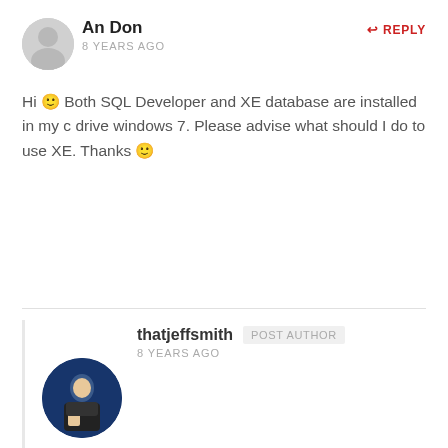An Don
8 YEARS AGO
REPLY
[Figure (illustration): Gray circular avatar placeholder icon for user An Don]
Hi 🙂 Both SQL Developer and XE database are installed in my c drive windows 7. Please advise what should I do to use XE. Thanks 🙂
thatjeffsmith
POST AUTHOR
8 YEARS AGO
[Figure (photo): Circular avatar photo of thatjeffsmith, showing a man in a dark jacket against a blue background]